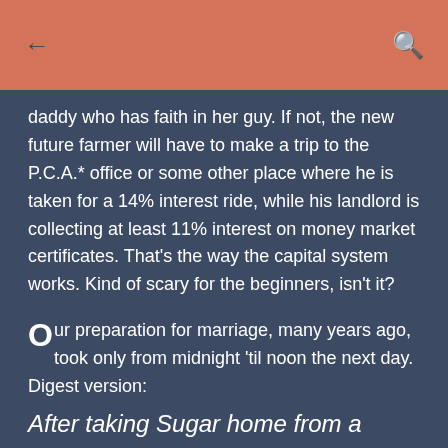← [back] [search]
daddy who has faith in her guy. If not, the new future farmer will have to make a trip to the P.C.A.* office or some other place where he is taken for a 14% interest ride, while his landlord is collecting at least 11% interest on money market certificates. That's the way the capital system works. Kind of scary for the beginners, isn't it?
Our preparation for marriage, many years ago, took only from midnight 'til noon the next day. Digest version: After taking Sugar home from a Grange dance...